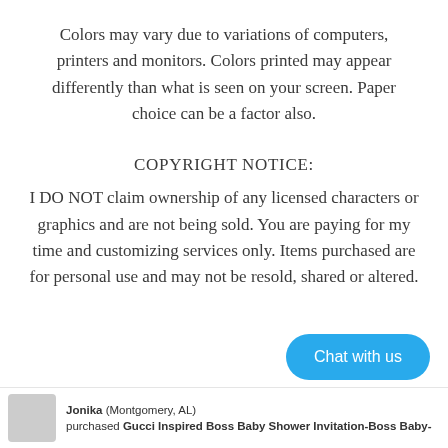Colors may vary due to variations of computers, printers and monitors. Colors printed may appear differently than what is seen on your screen. Paper choice can be a factor also.
COPYRIGHT NOTICE:
I DO NOT claim ownership of any licensed characters or graphics and are not being sold. You are paying for my time and customizing services only. Items purchased are for personal use and may not be resold, shared or altered.
[Figure (other): Blue rounded chat button labeled 'Chat with us']
Jonika (Montgomery, AL) purchased Gucci Inspired Boss Baby Shower Invitation-Boss Baby-